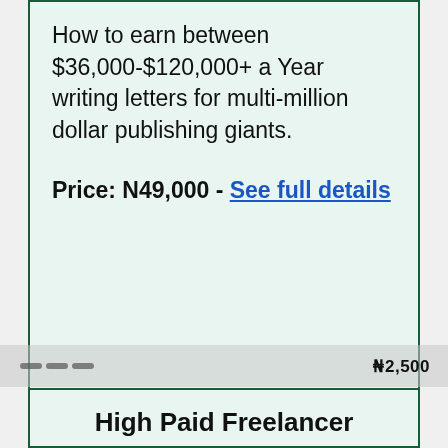How to earn between $36,000-$120,000+ a Year writing letters for multi-million dollar publishing giants.
Price: N49,000 - See full details
High Paid Freelancer Premium Program
This Product Shows You a Reliable Way To Get Clients